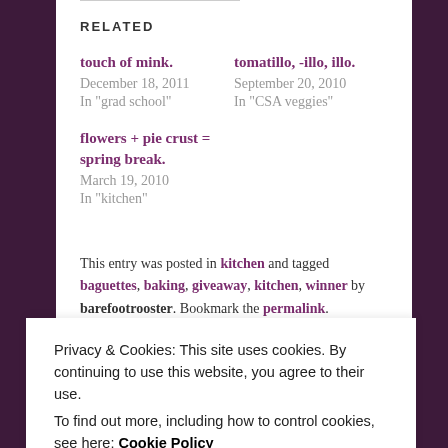RELATED
touch of mink.
December 18, 2011
In "grad school"
tomatillo, -illo, illo.
September 20, 2010
In "CSA veggies"
flowers + pie crust = spring break.
March 19, 2010
In "kitchen"
This entry was posted in kitchen and tagged baguettes, baking, giveaway, kitchen, winner by barefootrooster. Bookmark the permalink.
Privacy & Cookies: This site uses cookies. By continuing to use this website, you agree to their use.
To find out more, including how to control cookies, see here: Cookie Policy
Close and accept